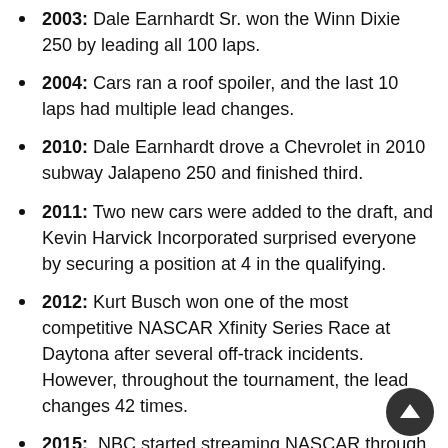2003: Dale Earnhardt Sr. won the Winn Dixie 250 by leading all 100 laps.
2004: Cars ran a roof spoiler, and the last 10 laps had multiple lead changes.
2010: Dale Earnhardt drove a Chevrolet in 2010 subway Jalapeno 250 and finished third.
2011: Two new cars were added to the draft, and Kevin Harvick Incorporated surprised everyone by securing a position at 4 in the qualifying.
2012: Kurt Busch won one of the most competitive NASCAR Xfinity Series Race at Daytona after several off-track incidents. However, throughout the tournament, the lead changes 42 times.
2015: NBC started streaming NASCAR through the Subway Firecracker 250 on NBCSN.
2018: Kyle Larson won the race, but it was thought Justin Haley was the winner. Later video footage showed that Larson actually won it.